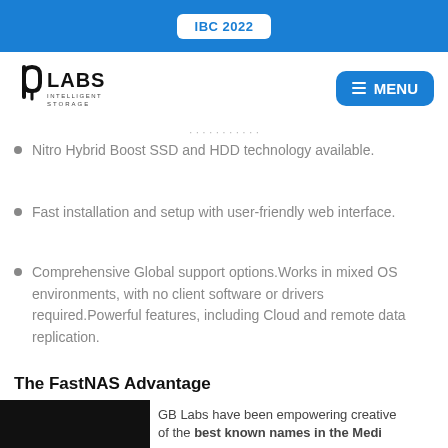IBC 2022
[Figure (logo): GB Labs Intelligent Storage logo with menu button]
Nitro Hybrid Boost SSD and HDD technology available.
Fast installation and setup with user-friendly web interface.
Comprehensive Global support options.Works in mixed OS environments, with no client software or drivers required.Powerful features, including Cloud and remote data replication.
The FastNAS Advantage
GB Labs have been empowering creative ... of the best known names in the Media